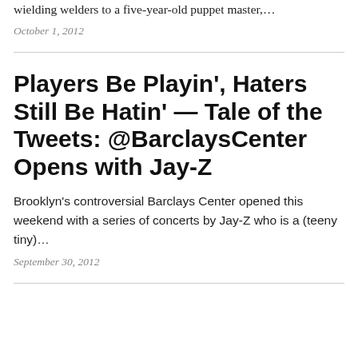wielding welders to a five-year-old puppet master,…
October 1, 2012
Players Be Playin', Haters Still Be Hatin' — Tale of the Tweets: @BarclaysCenter Opens with Jay-Z
Brooklyn's controversial Barclays Center opened this weekend with a series of concerts by Jay-Z who is a (teeny tiny)…
September 30, 2012